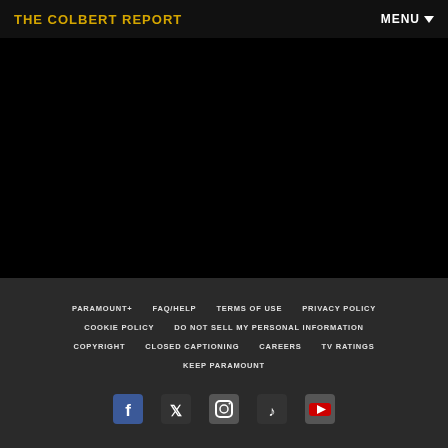THE COLBERT REPORT
[Figure (screenshot): Black video player area with sidebar bars on left and right]
PARAMOUNT+ | FAQ/HELP | TERMS OF USE | PRIVACY POLICY | COOKIE POLICY | DO NOT SELL MY PERSONAL INFORMATION | COPYRIGHT | CLOSED CAPTIONING | CAREERS | TV RATINGS | KEEP PARAMOUNT
[Figure (other): Social media icons: Facebook, Twitter, Instagram, TikTok, YouTube]